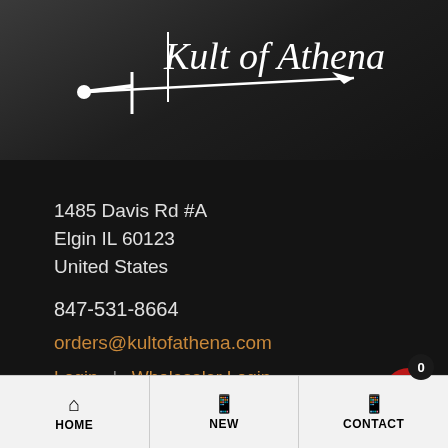[Figure (logo): Kult of Athena logo: white sword/dagger with serif text 'Kult of Athena' above it on dark background]
1485 Davis Rd #A
Elgin IL 60123
United States
847-531-8664
orders@kultofathena.com
Login  |  Wholesaler Login
[Figure (other): Red shopping cart button with black badge showing '0']
> Why Buy From Us?
HOME  |  NEW  |  CONTACT